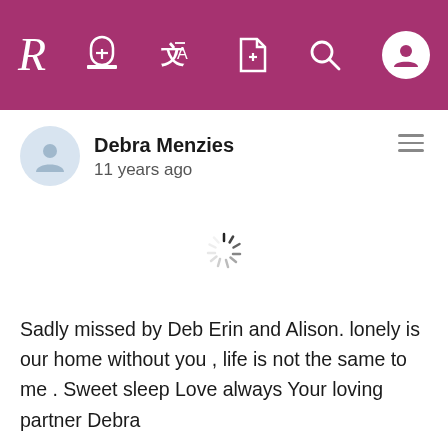R [navigation bar with icons: tombstone, translate, document, search, profile]
Debra Menzies
11 years ago
[Figure (other): Loading spinner icon]
Sadly missed by Deb Erin and Alison. lonely is our home without you , life is not the same to me . Sweet sleep Love always Your loving partner Debra